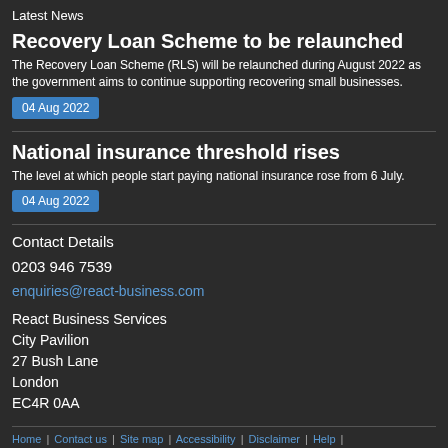Latest News
Recovery Loan Scheme to be relaunched
The Recovery Loan Scheme (RLS) will be relaunched during August 2022 as the government aims to continue supporting recovering small businesses.
04 Aug 2022
National insurance threshold rises
The level at which people start paying national insurance rose from 6 July.
04 Aug 2022
Contact Details
0203 946 7539
enquiries@react-business.com
React Business Services
City Pavilion
27 Bush Lane
London
EC4R 0AA
Home | Contact us | Site map | Accessibility | Disclaimer | Help |